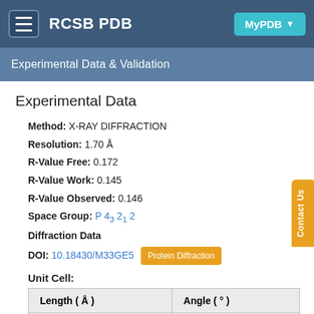RCSB PDB
Experimental Data & Validation
Experimental Data
Method: X-RAY DIFFRACTION
Resolution: 1.70 Å
R-Value Free: 0.172
R-Value Work: 0.145
R-Value Observed: 0.146
Space Group: P 43 21 2
Diffraction Data
DOI: 10.18430/M33GE5  Protein Diffraction
Unit Cell:
| Length ( Å ) | Angle ( ° ) |
| --- | --- |
| a = 112.06 | α = 90 |
| b = 112.06 | β = 90 |
| c = 68.3 | γ = 90 |